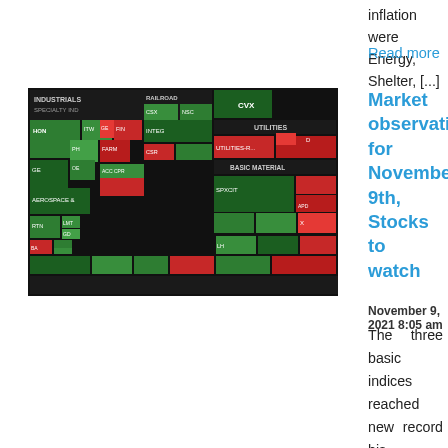inflation were Energy, Shelter, [...]
Read more
[Figure (other): Stock market treemap showing sector performance with green and red tiles for INDUSTRIALS, UTILITIES, BASIC MATERIAL sectors and various ticker symbols]
Market observations for November 9th, Stocks to watch
November 9, 2021 8:05 am
The three basic indices reached new record his yesterday with another encouraging factor, besides the brilliant massive corporate Q3 results and the favorable macroeconomic data released, including the employment situation. The S&P's 8th consecutive session of record his streak is an event unseen since 1997: After straining and fluctuating negotiations for